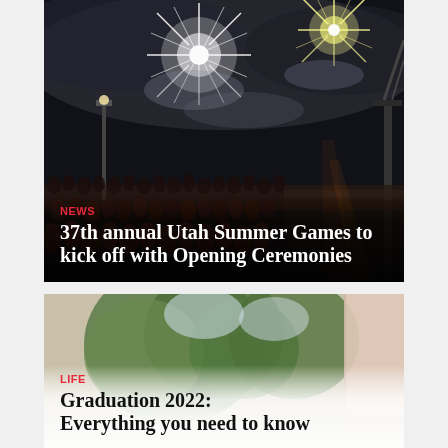[Figure (photo): Night photo of a large crowd at an outdoor event with spectacular fireworks bursting overhead, taken from a stage perspective. The sky is dark with clouds lit by the fireworks. A large audience fills the field below.]
NEWS
37th annual Utah Summer Games to kick off with Opening Ceremonies
[Figure (photo): Outdoor daytime photo showing trees and what appears to be a campus or venue setting, partially visible as a card preview.]
LIFE
Graduation 2022: Everything you need to know